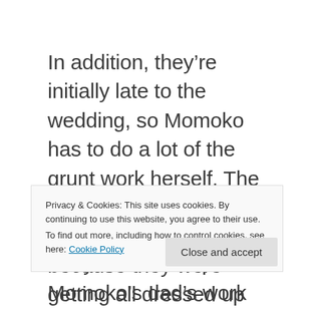In addition, they're initially late to the wedding, so Momoko has to do a lot of the grunt work herself. The reason Hinagiku and Yuri were late was because they were getting all dressed up for Yanagiba. Meanwhile Momoko is still wearing her school uniform. To be fair, I'm not sure why she's in her school uniform. Her dad
Privacy & Cookies: This site uses cookies. By continuing to use this website, you agree to their use. To find out more, including how to control cookies, see here: Cookie Policy
Close and accept
They also interrupt Momoko's dad's work